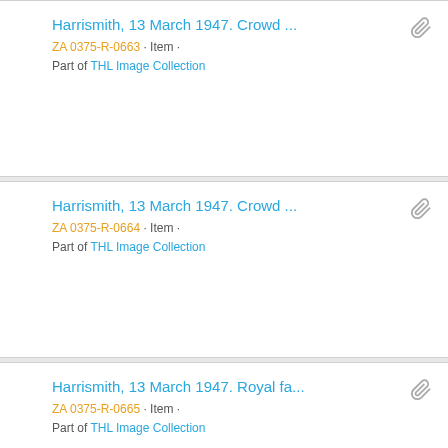Harrismith, 13 March 1947. Crowd ... ZA 0375-R-0663 · Item · Part of THL Image Collection
Harrismith, 13 March 1947. Crowd ... ZA 0375-R-0664 · Item · Part of THL Image Collection
Harrismith, 13 March 1947. Royal fa... ZA 0375-R-0665 · Item · Part of THL Image Collection
Harrismith, 13 March 1947. Crowd ...